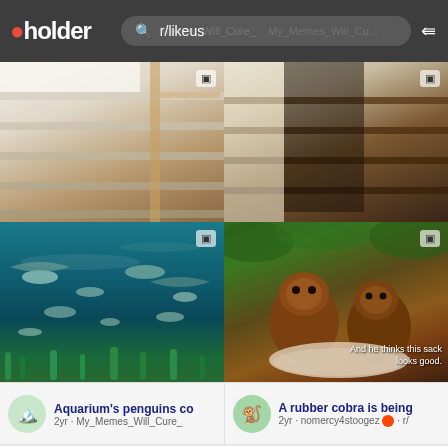pholder — search: r/likeus
[Figure (screenshot): Four-panel grid of video thumbnails: top-left shows white indoor staircase, top-right shows dark wood staircase, bottom-left shows aquarium with fish, bottom-right shows two orangutans with text 'And he thinks this sack looks good.']
Aquarium's penguins co
2yr · My_Memes_Will_Cure_
A rubber cobra is being
2yr · nomercy4stoogez 🔴 · r/
Cow protects her human
2yr · Master1718 🔴 · r/likeus
[Figure (screenshot): Partial thumbnail preview of a video, light blue background]